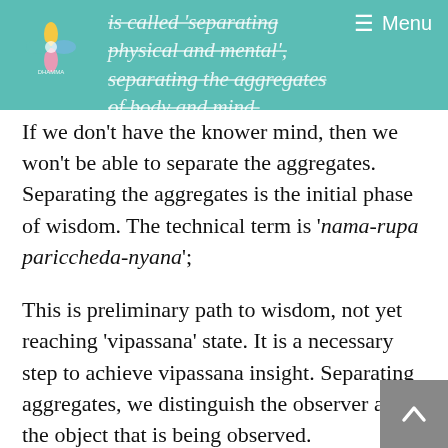is called 'separating physical and mental', separating the aggregates of body and mind.
If we don't have the knower mind, then we won't be able to separate the aggregates. Separating the aggregates is the initial phase of wisdom. The technical term is 'nama-rupa pariccheda-nyana';
This is preliminary path to wisdom, not yet reaching 'vipassana' state. It is a necessary step to achieve vipassana insight. Separating aggregates, we distinguish the observer and the object that is being observed.
Separating the knower and the known, not separating two different objects. Being able to separate anger that arises now and anger that happened moments ago; that is not